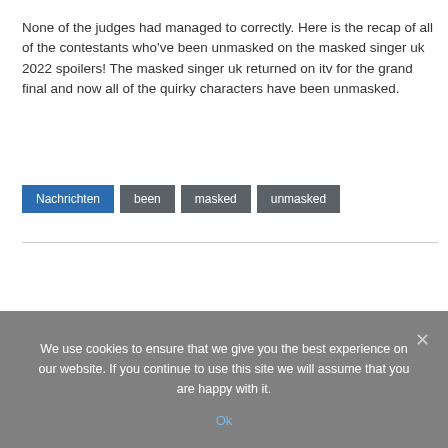None of the judges had managed to correctly. Here is the recap of all of the contestants who've been unmasked on the masked singer uk 2022 spoilers! The masked singer uk returned on itv for the grand final and now all of the quirky characters have been unmasked.
Nachrichten
been
masked
unmasked
We use cookies to ensure that we give you the best experience on our website. If you continue to use this site we will assume that you are happy with it.
Ok